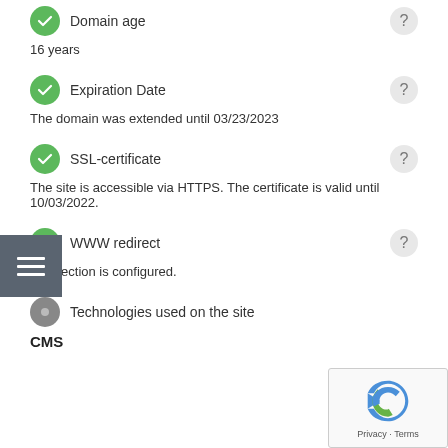Domain age
16 years
Expiration Date
The domain was extended until 03/23/2023
SSL-certificate
The site is accessible via HTTPS. The certificate is valid until 10/03/2022.
WWW redirect
Redirection is configured.
Technologies used on the site
CMS